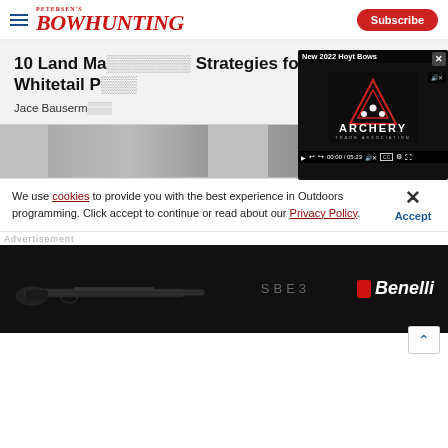Petersen's Bowhunting — Subscribe
10 Land Ma... Strategies for Small Whitetail P...
Jace Bauserm...
[Figure (screenshot): Video player overlay showing 'New 2022 Hoyt Bows' with Archery Trade Association logo, paused at 00:00 / 05:23]
[Figure (photo): Partial image of archery/bow equipment]
We use cookies to provide you with the best experience in Outdoors programming. Click accept to continue or read about our Privacy Policy.
Advertisement
[Figure (photo): Benelli SBE3 shotgun advertisement banner]